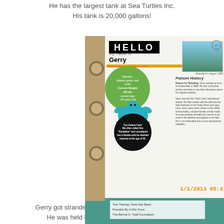He has the largest tank at Sea Turtles Inc.
His tank is 20,000 gallons!
[Figure (photo): Photograph of a binder page showing a sea turtle patient profile. The page has a 'HELLO my name is Gerry' name tag sticker, a green circle with turtle info (Atlantic green sea turtle, current weight 120 lbs, current age ~35 years old), a fish/turtle photo, a 'Patient History' section, a black circle with 'Fun Patient Fact!', and a teal blue sea turtle graphic. Timestamp reads 1/1/2013 05:2...]
Gerry got stranded due to a hurricane during the mi...
He was held back as an educational animal...
[Figure (photo): Bottom portion of another binder page with teal background. Contains a white box with text about the therapy tank being made possible by a war from (grant/foundation info).]